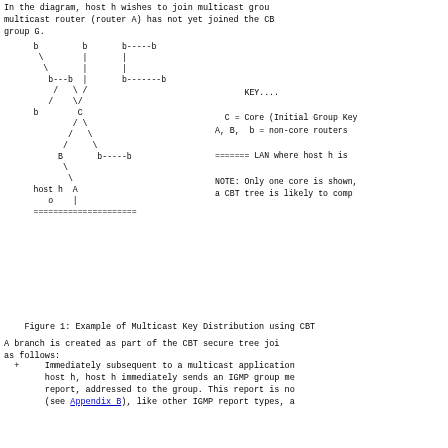In the diagram, host h wishes to join multicast group G, and the local multicast router (router A) has not yet joined the CBT tree for group G.
[Figure (network-graph): CBT multicast tree diagram showing nodes b, C, B, A, host h connected in a tree structure with dashed and solid lines. KEY shows C = Core, A, B, b = non-core routers, ======= = LAN where host h is. NOTE: Only one core is shown, a CBT tree is likely to comprise multiple cores.]
Figure 1: Example of Multicast Key Distribution using CBT
A branch is created as part of the CBT secure tree join process, as follows:
+ Immediately subsequent to a multicast application joining on host h, host h immediately sends an IGMP group membership report, addressed to the group. This report is not unsolicited (see Appendix B), like other IGMP report types, a multicast-capable host suppresses its own report if it hears...